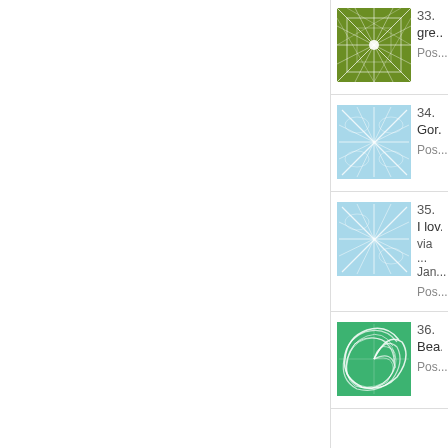33. gre... Pos...
34. Gor... Pos...
35. I lov... via ... Jan... Pos...
36. Bea... Pos...